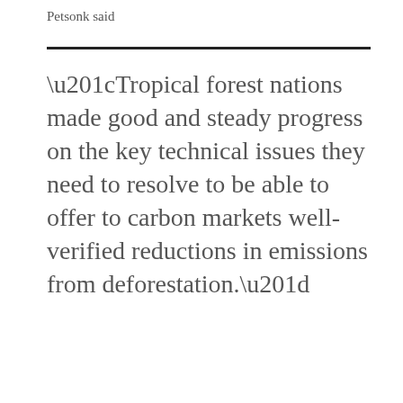Petsonk said
“Tropical forest nations made good and steady progress on the key technical issues they need to resolve to be able to offer to carbon markets well-verified reductions in emissions from deforestation.”